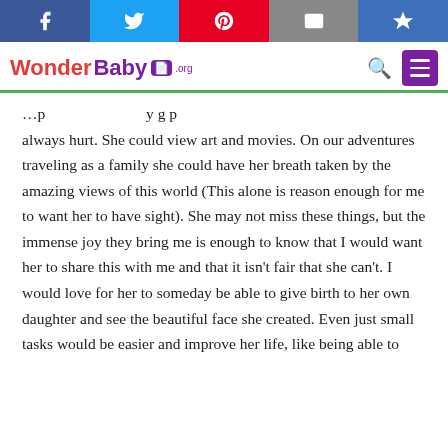WonderBaby.org — social share bar and navigation header
always hurt. She could view art and movies. On our adventures traveling as a family she could have her breath taken by the amazing views of this world (This alone is reason enough for me to want her to have sight). She may not miss these things, but the immense joy they bring me is enough to know that I would want her to share this with me and that it isn't fair that she can't. I would love for her to someday be able to give birth to her own daughter and see the beautiful face she created. Even just small tasks would be easier and improve her life, like being able to